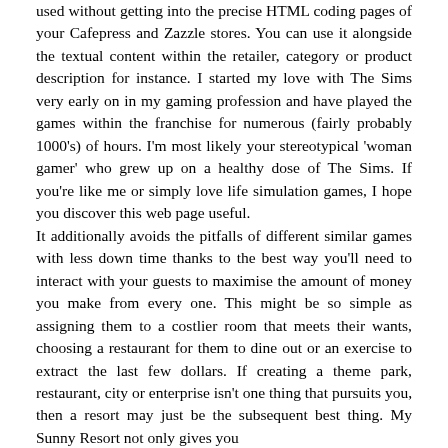used without getting into the precise HTML coding pages of your Cafepress and Zazzle stores. You can use it alongside the textual content within the retailer, category or product description for instance. I started my love with The Sims very early on in my gaming profession and have played the games within the franchise for numerous (fairly probably 1000's) of hours. I'm most likely your stereotypical 'woman gamer' who grew up on a healthy dose of The Sims. If you're like me or simply love life simulation games, I hope you discover this web page useful. It additionally avoids the pitfalls of different similar games with less down time thanks to the best way you'll need to interact with your guests to maximise the amount of money you make from every one. This might be so simple as assigning them to a costlier room that meets their wants, choosing a restaurant for them to dine out or an exercise to extract the last few dollars. If creating a theme park, restaurant, city or enterprise isn't one thing that pursuits you, then a resort may just be the subsequent best thing. My Sunny Resort not only gives you